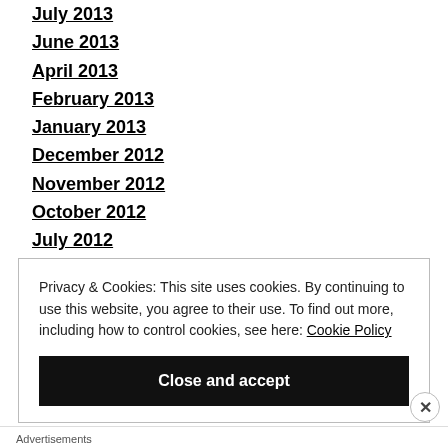July 2013
June 2013
April 2013
February 2013
January 2013
December 2012
November 2012
October 2012
July 2012
Privacy & Cookies: This site uses cookies. By continuing to use this website, you agree to their use. To find out more, including how to control cookies, see here: Cookie Policy
Close and accept
Advertisements